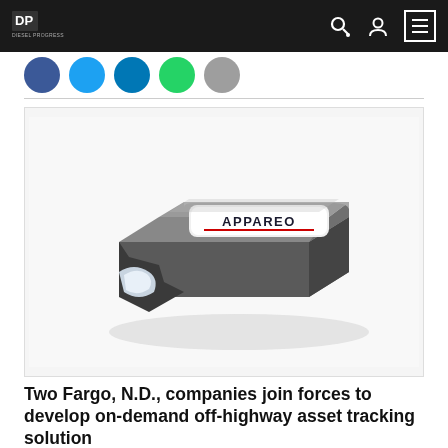Diesel Progress
[Figure (photo): An Appareo branded asset tracking device — a small rectangular dark metallic unit with a white label reading 'APPAREO' in dark lettering with a red underline, shown on a white background.]
Two Fargo, N.D., companies join forces to develop on-demand off-highway asset tracking solution